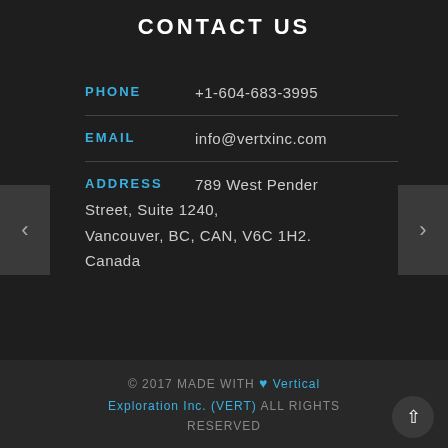CONTACT US
PHONE  +1-604-683-3995
EMAIL  info@vertxinc.com
ADDRESS  789 West Pender Street, Suite 1240, Vancouver, BC, CAN, V6C 1H2. Canada
© 2017 MADE WITH ♥ Vertical Exploration Inc. (VERT) ALL RIGHTS RESERVED